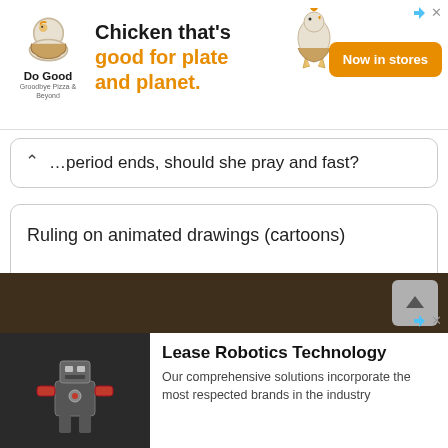[Figure (infographic): Do Good Chicken advertisement banner: logo with chicken bowl illustration on left, text 'Chicken that’s good for plate and planet.' in center with orange highlighted words, chicken graphic on right, and orange 'Now in stores' button]
...period ends, should she pray and fast?
Ruling on animated drawings (cartoons)
[Figure (infographic): Navigation buttons: share (arrow), menu (lines), back (<) and forward (>) in red rounded rectangles]
[Figure (infographic): Dark brown background section at bottom of page]
[Figure (infographic): Advertisement for 'Lease Robotics Technology' with robot boxing image on left and text on right: 'Lease Robotics Technology - Our comprehensive solutions incorporate the most respected brands in the industry']